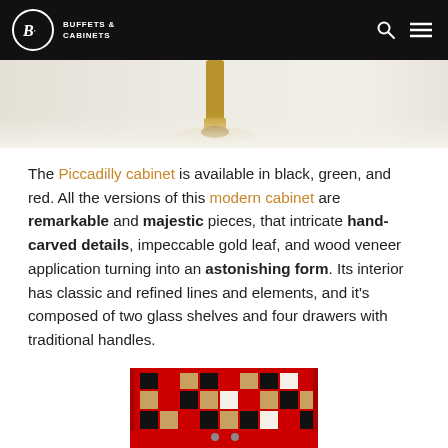BUFFETS & CABINETS
[Figure (photo): Partial product photo showing a gold furniture leg/foot detail on a light background]
The Piccadilly cabinet is available in black, green, and red. All the versions of this modern cabinet are remarkable and majestic pieces, that intricate hand-carved details, impeccable gold leaf, and wood veneer application turning into an astonishing form. Its interior has classic and refined lines and elements, and it's composed of two glass shelves and four drawers with traditional handles.
[Figure (photo): Partial product photo of the Piccadilly cabinet in red, with a black and beige checkered pattern on the front, distinctive decorative design]